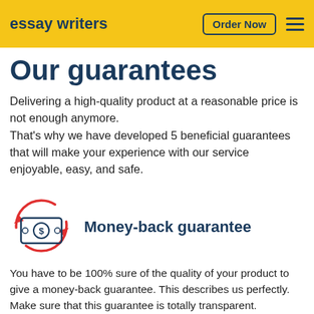essay writers | Order Now
Our guarantees
Delivering a high-quality product at a reasonable price is not enough anymore. That's why we have developed 5 beneficial guarantees that will make your experience with our service enjoyable, easy, and safe.
[Figure (illustration): Red circular arrows icon around a money/cash bill icon symbolizing money-back guarantee]
Money-back guarantee
You have to be 100% sure of the quality of your product to give a money-back guarantee. This describes us perfectly. Make sure that this guarantee is totally transparent.